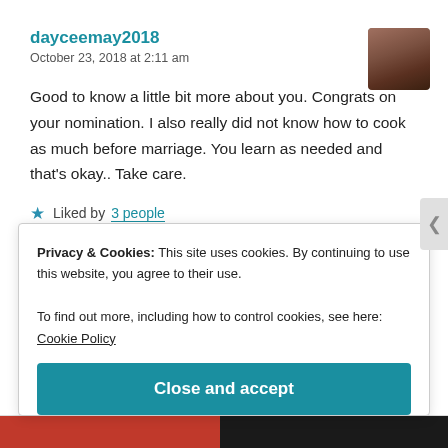dayceemay2018
October 23, 2018 at 2:11 am
Good to know a little bit more about you. Congrats on your nomination. I also really did not know how to cook as much before marriage. You learn as needed and that's okay.. Take care.
★ Liked by 3 people
Reply
Privacy & Cookies: This site uses cookies. By continuing to use this website, you agree to their use.
To find out more, including how to control cookies, see here: Cookie Policy
Close and accept